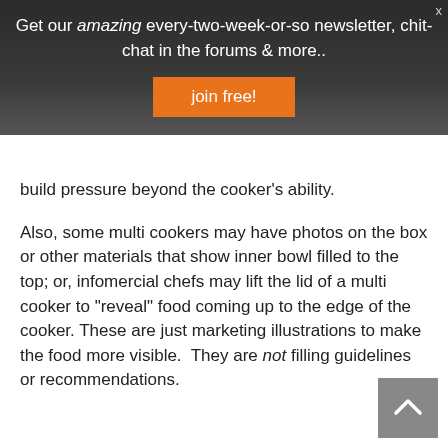Get our amazing every-two-week-or-so newsletter, chit-chat in the forums & more..
join free!
build pressure beyond the cooker’s ability.
Also, some multi cookers may have photos on the box or other materials that show inner bowl filled to the top; or, infomercial chefs may lift the lid of a multi cooker to “reveal” food coming up to the edge of the cooker. These are just marketing illustrations to make the food more visible.  They are not filling guidelines or recommendations.